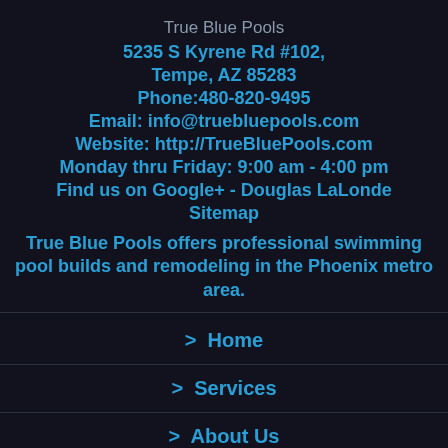True Blue Pools
5235 S Kyrene Rd #102,
Tempe, AZ 85283
Phone:480-820-9495
Email: info@truebluepools.com
Website: http://TrueBluePools.com
Monday thru Friday: 9:00 am - 4:00 pm
Find us on Google+ - Douglas LaLonde
Sitemap
True Blue Pools offers professional swimming pool builds and remodeling in the Phoenix metro area.
> Home
> Services
> About Us
480-820-9495   DIRECTIONS